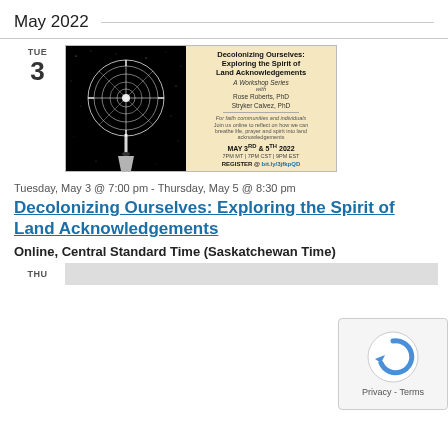May 2022
TUE
3
[Figure (flyer): Workshop flyer for 'Decolonizing Ourselves: Exploring the Spirit of Land Acknowledgements' — left half is a black-and-white illustration of a circular design on a dark background, right half is a cream/yellow background with event details: A Workshop Series with Rose Roberts PhD and Stryker Calvez PhD, May 3rd & 5th 2022, 7PM MT | 7PM CST | 9PM EST, Register @ bit.ly/3jfkpQD]
Tuesday, May 3 @ 7:00 pm - Thursday, May 5 @ 8:30 pm
Decolonizing Ourselves: Exploring the Spirit of Land Acknowledgements
Online, Central Standard Time (Saskatchewan Time)
THU